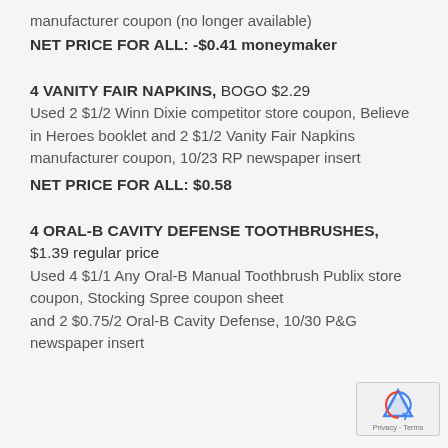manufacturer coupon (no longer available)
NET PRICE FOR ALL: -$0.41 moneymaker
4 VANITY FAIR NAPKINS, BOGO $2.29 Used 2 $1/2 Winn Dixie competitor store coupon, Believe in Heroes booklet and 2 $1/2 Vanity Fair Napkins manufacturer coupon, 10/23 RP newspaper insert
NET PRICE FOR ALL: $0.58
4 ORAL-B CAVITY DEFENSE TOOTHBRUSHES, $1.39 regular price Used 4 $1/1 Any Oral-B Manual Toothbrush Publix store coupon, Stocking Spree coupon sheet and 2 $0.75/2 Oral-B Cavity Defense, 10/30 P&G newspaper insert